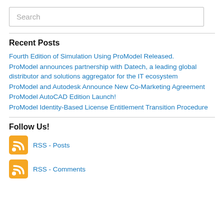Search
Recent Posts
Fourth Edition of Simulation Using ProModel Released.
ProModel announces partnership with Datech, a leading global distributor and solutions aggregator for the IT ecosystem
ProModel and Autodesk Announce New Co-Marketing Agreement
ProModel AutoCAD Edition Launch!
ProModel Identity-Based License Entitlement Transition Procedure
Follow Us!
RSS - Posts
RSS - Comments